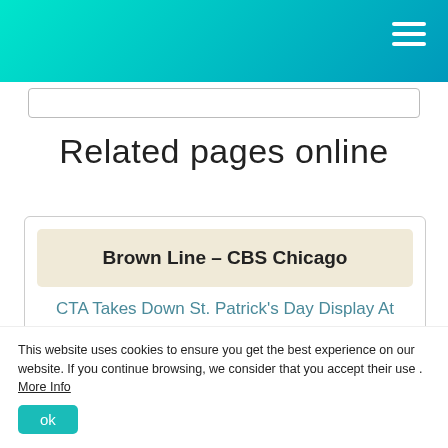Related pages online
Brown Line – CBS Chicago
CTA Takes Down St. Patrick's Day Display At Kimball Brown Line Station; Bars Employees … No Threat Determined After Reports of
This website uses cookies to ensure you get the best experience on our website. If you continue browsing, we consider that you accept their use . More Info